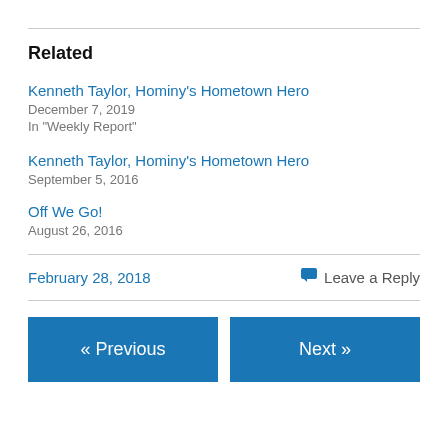Related
Kenneth Taylor, Hominy's Hometown Hero
December 7, 2019
In "Weekly Report"
Kenneth Taylor, Hominy's Hometown Hero
September 5, 2016
Off We Go!
August 26, 2016
February 28, 2018    Leave a Reply
« Previous    Next »